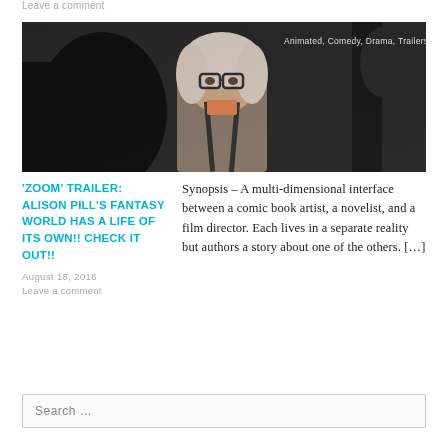Leave a comment
[Figure (photo): A woman with short light pink/blonde hair and glasses, wearing a grey top with suspenders, looking at someone off-camera. Dark studio background. Tags overlay in top-right: Animated, Comedy, Drama, Trailers]
'ZOOM' TRAILER: ALISON PILL'S FANTASY WORLD HAS A LIFE OF ITS OWN!! CHECK IT OUT!!
Synopsis – A multi-dimensional interface between a comic book artist, a novelist, and a film director. Each lives in a separate reality but authors a story about one of the others. […]
August 18, 2016
Leave a comment
Search …